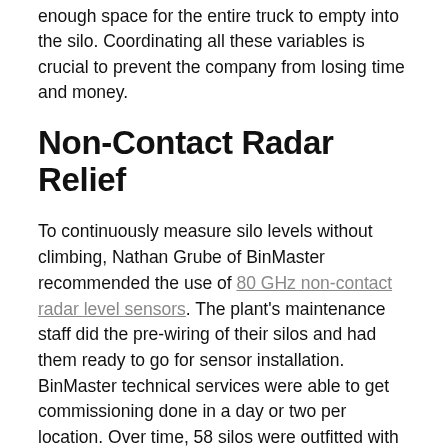enough space for the entire truck to empty into the silo. Coordinating all these variables is crucial to prevent the company from losing time and money.
Non-Contact Radar Relief
To continuously measure silo levels without climbing, Nathan Grube of BinMaster recommended the use of 80 GHz non-contact radar level sensors. The plant's maintenance staff did the pre-wiring of their silos and had them ready to go for sensor installation. BinMaster technical services were able to get commissioning done in a day or two per location. Over time, 58 silos were outfitted with NCR-80 sensors along with rotary level indicators that are